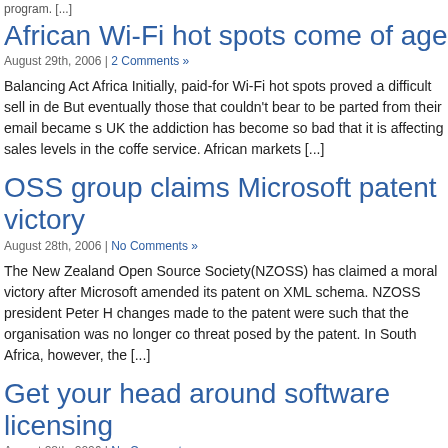program. [...]
African Wi-Fi hot spots come of age
August 29th, 2006 | 2 Comments »
Balancing Act Africa Initially, paid-for Wi-Fi hot spots proved a difficult sell in de... But eventually those that couldn't bear to be parted from their email became s... UK the addiction has become so bad that it is affecting sales levels in the coffe... service. African markets [...]
OSS group claims Microsoft patent victory
August 28th, 2006 | No Comments »
The New Zealand Open Source Society(NZOSS) has claimed a moral victory... after Microsoft amended its patent on XML schema. NZOSS president Peter H... changes made to the patent were such that the organisation was no longer co... threat posed by the patent. In South Africa, however, the [...]
Get your head around software licensing
August 28th, 2006 | No Comments »
The use of free and open source software is growing rapidly and more and mo... attracted by the appeal of community-driven free software. But for many organ... businesses the notion of a "free" software licence is confusing, and sometimes... Particularly for organisations that build their businesses on software, there [...]